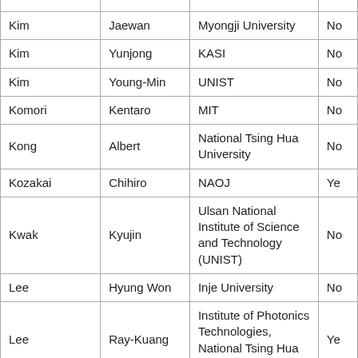| Last Name | First Name | Institution | Note |
| --- | --- | --- | --- |
| Kim | Jaewan | Myongji University | No |
| Kim | Yunjong | KASI | No |
| Kim | Young-Min | UNIST | No |
| Komori | Kentaro | MIT | No |
| Kong | Albert | National Tsing Hua University | No |
| Kozakai | Chihiro | NAOJ | Ye |
| Kwak | Kyujin | Ulsan National Institute of Science and Technology (UNIST) | No |
| Lee | Hyung Won | Inje University | No |
| Lee | Ray-Kuang | Institute of Photonics Technologies, National Tsing Hua University | Ye |
| Leonardi | Matteo | NAOJ | Ye |